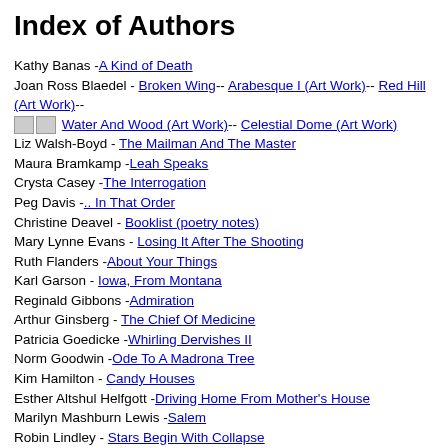Index of Authors
Kathy Banas - A Kind of Death
Joan Ross Blaedel - Broken Wing-- Arabesque I (Art Work)-- Red Hill (Art Work)-- [images] Water And Wood (Art Work)-- Celestial Dome (Art Work)
Liz Walsh-Boyd - The Mailman And The Master
Maura Bramkamp - Leah Speaks
Crysta Casey - The Interrogation
Peg Davis - .. In That Order
Christine Deavel - Booklist (poetry notes)
Mary Lynne Evans - Losing It After The Shooting
Ruth Flanders - About Your Things
Karl Garson - Iowa, From Montana
Reginald Gibbons - Admiration
Arthur Ginsberg - The Chief Of Medicine
Patricia Goedicke - Whirling Dervishes II
Norm Goodwin - Ode To A Madrona Tree
Kim Hamilton - Candy Houses
Esther Altshul Helfgott - Driving Home From Mother's House
Marilyn Mashburn Lewis - Salem
Robin Lindley - Stars Begin With Collapse
Susan Littlefield - The Reign Of Kai
Carolyn Locke - Crows